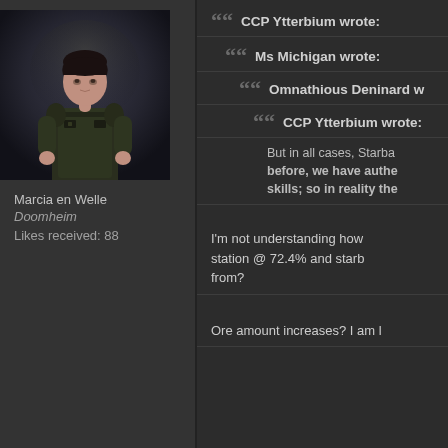[Figure (illustration): 3D rendered game character portrait of a woman in dark tactical/military clothing against a dark smoky background]
Marcia en Welle
Doomheim
Likes received: 88
CCP Ytterbium wrote:
Ms Michigan wrote:
Omnathious Deninard w
CCP Ytterbium wrote:
But in all cases, Starba before, we have authe skills; so in reality the
I'm not understanding how station @ 72.4% and starb from?
Ore amount increases? I am l